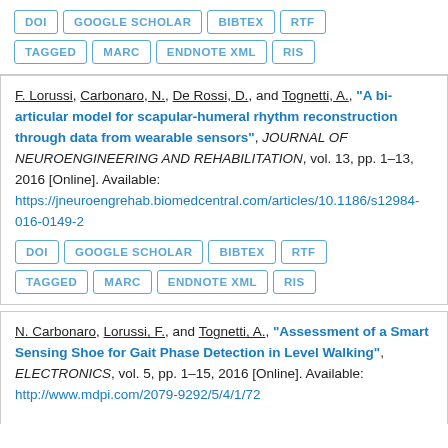DOI | GOOGLE SCHOLAR | BIBTEX | RTF | TAGGED | MARC | ENDNOTE XML | RIS
F. Lorussi, Carbonaro, N., De Rossi, D., and Tognetti, A., "A bi-articular model for scapular-humeral rhythm reconstruction through data from wearable sensors", JOURNAL OF NEUROENGINEERING AND REHABILITATION, vol. 13, pp. 1–13, 2016 [Online]. Available: https://jneuroengrehab.biomedcentral.com/articles/10.1186/s12984-016-0149-2
DOI | GOOGLE SCHOLAR | BIBTEX | RTF | TAGGED | MARC | ENDNOTE XML | RIS
N. Carbonaro, Lorussi, F., and Tognetti, A., "Assessment of a Smart Sensing Shoe for Gait Phase Detection in Level Walking", ELECTRONICS, vol. 5, pp. 1–15, 2016 [Online]. Available: http://...